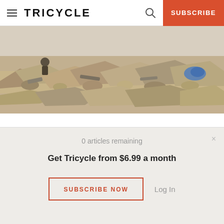TRICYCLE | SUBSCRIBE
[Figure (photo): Rubble and debris from a demolished building, with broken concrete, rocks, and construction materials scattered on dry ground. A figure is partially visible in the background.]
Do We Really “Have No Choice”?
By Stephen Fulder
0 articles remaining
Get Tricycle from $6.99 a month
SUBSCRIBE NOW   Log In